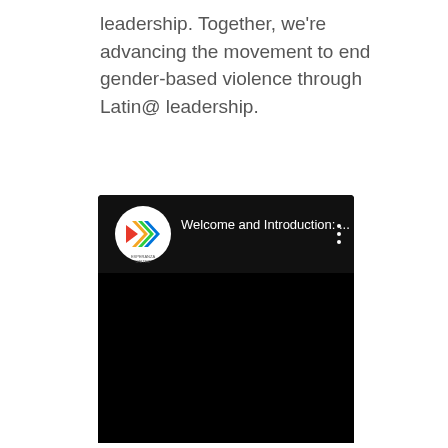leadership. Together, we're advancing the movement to end gender-based violence through Latin@ leadership.
[Figure (screenshot): Screenshot of a YouTube video embed from Esperanza United channel titled 'Welcome and Introduction: ...' with a black video thumbnail and three-dot menu icon on the right.]